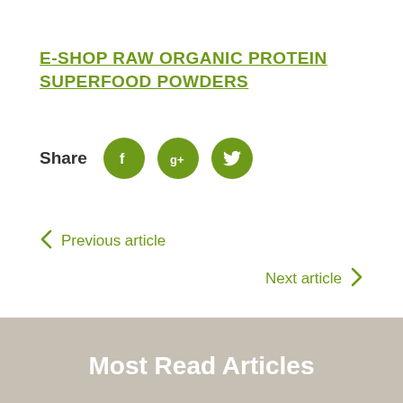E-SHOP RAW ORGANIC PROTEIN SUPERFOOD POWDERS
Share
Previous article
Next article
Most Read Articles